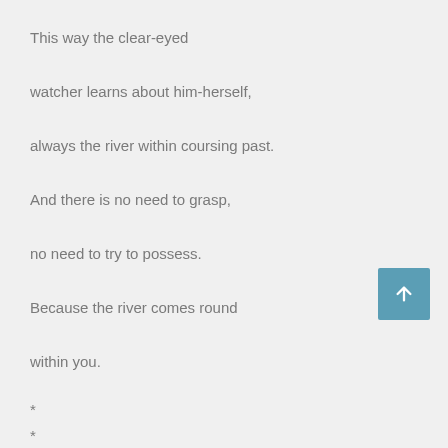This way the clear-eyed
watcher learns about him-herself,
always the river within coursing past.
And there is no need to grasp,
no need to try to possess.
Because the river comes round
within you.
*
*